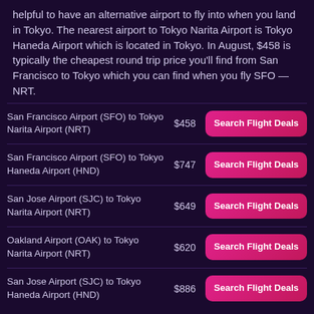helpful to have an alternative airport to fly into when you land in Tokyo. The nearest airport to Tokyo Narita Airport is Tokyo Haneda Airport which is located in Tokyo. In August, $458 is typically the cheapest round trip price you'll find from San Francisco to Tokyo which you can find when you fly SFO — NRT.
| Route | Price | Action |
| --- | --- | --- |
| San Francisco Airport (SFO) to Tokyo Narita Airport (NRT) | $458 | Search Flight Deals |
| San Francisco Airport (SFO) to Tokyo Haneda Airport (HND) | $747 | Search Flight Deals |
| San Jose Airport (SJC) to Tokyo Narita Airport (NRT) | $649 | Search Flight Deals |
| Oakland Airport (OAK) to Tokyo Narita Airport (NRT) | $620 | Search Flight Deals |
| San Jose Airport (SJC) to Tokyo Haneda Airport (HND) | $886 | Search Flight Deals |